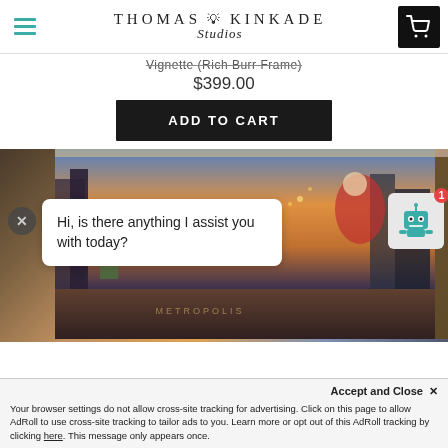[Figure (logo): Thomas Kinkade Studios logo with lamp post icon and cart icon]
Vignette (Rich Burr Frame)
$399.00
ADD TO CART
[Figure (photo): Thomas Kinkade Studios canvas print showing DC superheroes including Superman in a cityscape, displayed as a wrapped canvas box.]
Hi, is there anything I assist you with today?
Accept and Close ✕
Your browser settings do not allow cross-site tracking for advertising. Click on this page to allow AdRoll to use cross-site tracking to tailor ads to you. Learn more or opt out of this AdRoll tracking by clicking here. This message only appears once.